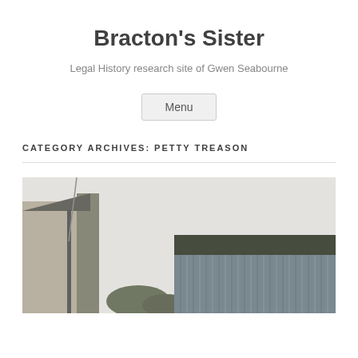Bracton's Sister
Legal History research site of Gwen Seabourne
Menu
CATEGORY ARCHIVES: PETTY TREASON
[Figure (photo): Photograph of stone and rendered buildings with corrugated metal roof structures, overcast sky, and trees in background]